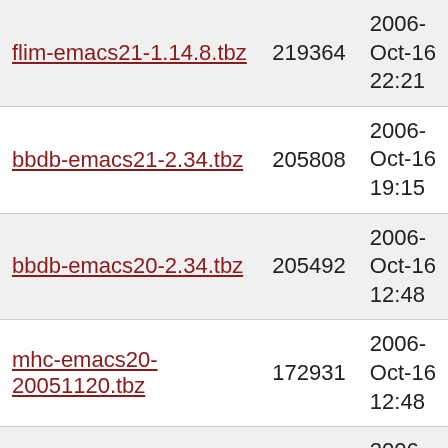| flim-emacs21-1.14.8.tbz | 219364 | 2006-Oct-16 22:21 |
| bbdb-emacs21-2.34.tbz | 205808 | 2006-Oct-16 19:15 |
| bbdb-emacs20-2.34.tbz | 205492 | 2006-Oct-16 12:48 |
| mhc-emacs20-20051120.tbz | 172931 | 2006-Oct-16 12:48 |
| yatex-xemacs-1.72_1.tbz | 162609 | 2006-Oct-15 06:31 |
| psgml-emacs21-1.3.2_4.tbz | 162214 | 2006-Oct-16 19:17 |
| psgml-emacs20-1.3.2_4.tbz | 162072 | 2006-Oct-16 12:58 |
| riece-emacs21-3.1.1,1.tbz | 161892 | 2006-Oct-19 |